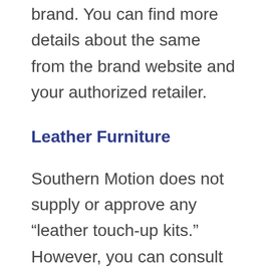brand. You can find more details about the same from the brand website and your authorized retailer.
Leather Furniture
Southern Motion does not supply or approve any “leather touch-up kits.” However, you can consult with your retailer or professional cleaner to enquire about which